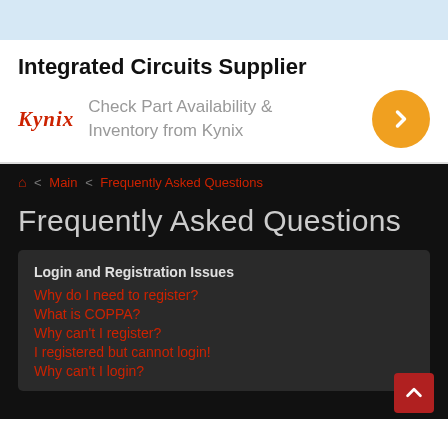Integrated Circuits Supplier
[Figure (logo): Kynix logo with text: Check Part Availability & Inventory from Kynix, and an orange circular arrow button]
🏠 < Main < Frequently Asked Questions
Frequently Asked Questions
Login and Registration Issues
Why do I need to register?
What is COPPA?
Why can't I register?
I registered but cannot login!
Why can't I login?